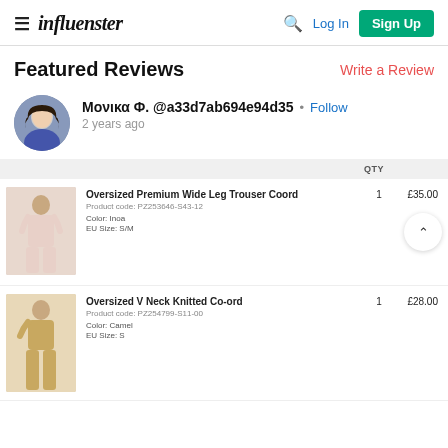influenster — Log In | Sign Up
Featured Reviews
Write a Review
Μονικα Φ. @a33d7ab694e94d35 • Follow
2 years ago
| Product | QTY | Price |
| --- | --- | --- |
| Oversized Premium Wide Leg Trouser Coord
Product code: PZ253646-S43-12
Color: Inoa
EU Size: S/M | 1 | £35.00 |
| Oversized V Neck Knitted Co-ord
Product code: PZ254799-S11-00
Color: Camel
EU Size: S | 1 | £28.00 |